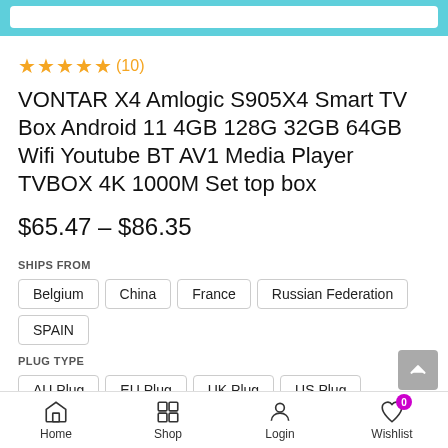★★★★★ (10)
VONTAR X4 Amlogic S905X4 Smart TV Box Android 11 4GB 128G 32GB 64GB Wifi Youtube BT AV1 Media Player TVBOX 4K 1000M Set top box
$65.47 – $86.35
SHIPS FROM
Belgium
China
France
Russian Federation
SPAIN
PLUG TYPE
AU Plug
EU Plug
UK Plug
US Plug
COLOR
Home   Shop   Login   Wishlist (0)